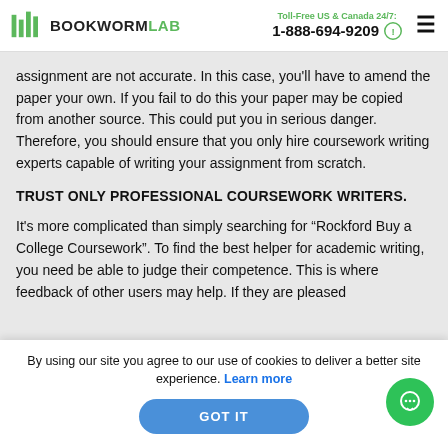BOOKWORMLAB | Toll-Free US & Canada 24/7: 1-888-694-9209
assignment are not accurate. In this case, you'll have to amend the paper your own. If you fail to do this your paper may be copied from another source. This could put you in serious danger. Therefore, you should ensure that you only hire coursework writing experts capable of writing your assignment from scratch.
TRUST ONLY PROFESSIONAL COURSEWORK WRITERS.
It's more complicated than simply searching for “Rockford Buy a College Coursework”. To find the best helper for academic writing, you need be able to judge their competence. This is where feedback of other users may help. If they are pleased
By using our site you agree to our use of cookies to deliver a better site experience. Learn more